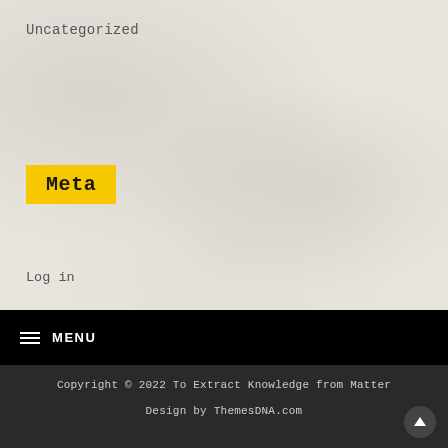Uncategorized
Meta
Log in
Entries feed
Comments feed
WordPress.org
MENU
Copyright © 2022 To Extract Knowledge from Matter
Design by ThemesDNA.com